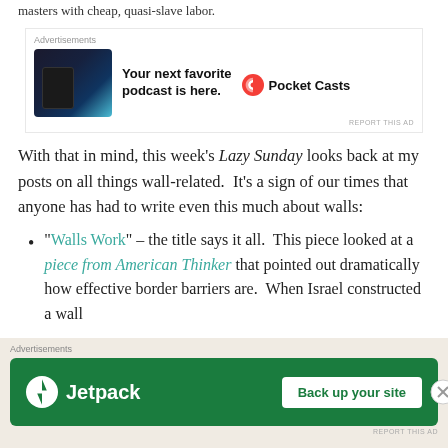masters with cheap, quasi-slave labor.
[Figure (screenshot): Advertisement for Pocket Casts podcast app. Shows app screenshot on left, text 'Your next favorite podcast is here.' in bold, and Pocket Casts logo with brand name on right.]
With that in mind, this week's Lazy Sunday looks back at my posts on all things wall-related.  It's a sign of our times that anyone has had to write even this much about walls:
"Walls Work" – the title says it all.  This piece looked at a piece from American Thinker that pointed out dramatically how effective border barriers are.  When Israel constructed a wall
[Figure (screenshot): Advertisement for Jetpack. Green background with Jetpack logo and lightning bolt icon on left, 'Back up your site' button on right.]